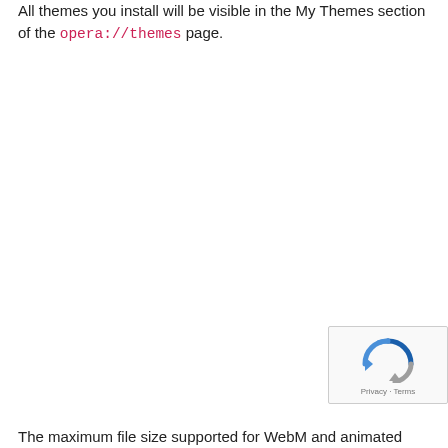All themes you install will be visible in the My Themes section of the opera://themes page.
[Figure (other): reCAPTCHA badge with spinning arrow logo and Privacy · Terms text]
The maximum file size supported for WebM and animated